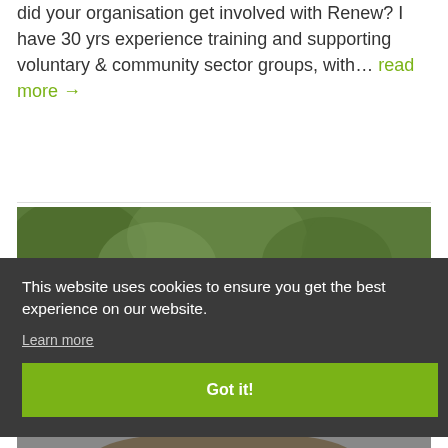did your organisation get involved with Renew? I have 30 yrs experience training and supporting voluntary & community sector groups, with… read more →
[Figure (photo): A person's head from above, with brown hair, surrounded by green foliage background — a portrait photo cropped to show primarily the top of the head and garden background.]
This website uses cookies to ensure you get the best experience on our website. Learn more
Got it!